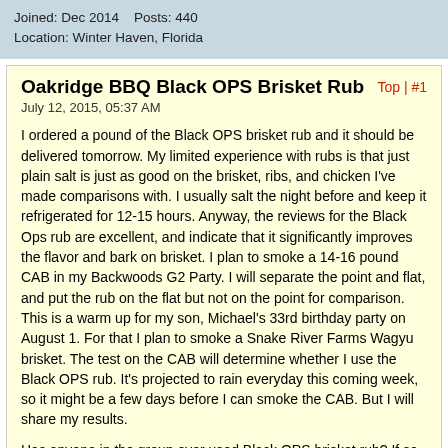Joined: Dec 2014    Posts: 440
Location: Winter Haven, Florida
Oakridge BBQ Black OPS Brisket Rub
July 12, 2015, 05:37 AM
I ordered a pound of the Black OPS brisket rub and it should be delivered tomorrow. My limited experience with rubs is that just plain salt is just as good on the brisket, ribs, and chicken I've made comparisons with. I usually salt the night before and keep it refrigerated for 12-15 hours. Anyway, the reviews for the Black Ops rub are excellent, and indicate that it significantly improves the flavor and bark on brisket. I plan to smoke a 14-16 pound CAB in my Backwoods G2 Party. I will separate the point and flat, and put the rub on the flat but not on the point for comparison. This is a warm up for my son, Michael's 33rd birthday party on August 1. For that I plan to smoke a Snake River Farms Wagyu brisket. The test on the CAB will determine whether I use the Black OPS rub. It's projected to rain everyday this coming week, so it might be a few days before I can smoke the CAB. But I will share my results.
Has anyone in the group ever used Black OPS brisket rub? If so, what is your opinion of it?
Tags: None